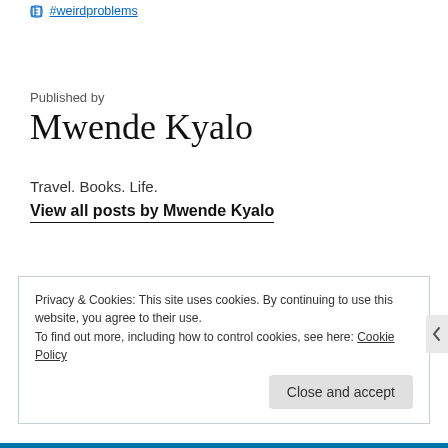#weirdproblems
Published by
Mwende Kyalo
Travel. Books. Life.
View all posts by Mwende Kyalo
Privacy & Cookies: This site uses cookies. By continuing to use this website, you agree to their use.
To find out more, including how to control cookies, see here: Cookie Policy
Close and accept